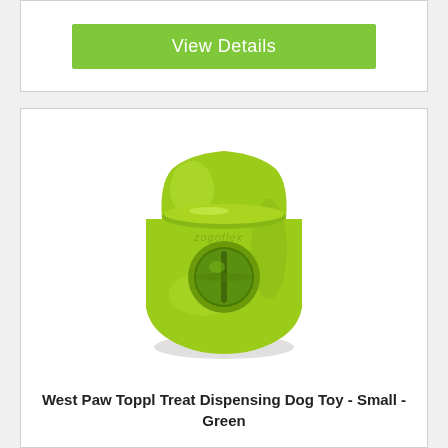View Details
[Figure (photo): Green rubber West Paw Toppl treat dispensing dog toy with a circular hole on the front and zogoflex branding embossed on the surface.]
West Paw Toppl Treat Dispensing Dog Toy - Small - Green